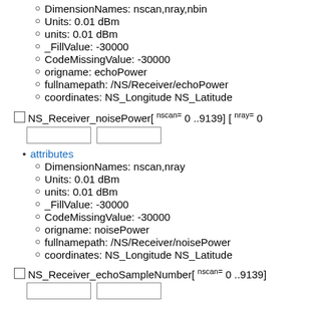DimensionNames: nscan,nray,nbin
Units: 0.01 dBm
units: 0.01 dBm
_FillValue: -30000
CodeMissingValue: -30000
origname: echoPower
fullnamepath: /NS/Receiver/echoPower
coordinates: NS_Longitude NS_Latitude
NS_Receiver_noisePower[ nscan= 0 ..9139] [ nray= 0
attributes
DimensionNames: nscan,nray
Units: 0.01 dBm
units: 0.01 dBm
_FillValue: -30000
CodeMissingValue: -30000
origname: noisePower
fullnamepath: /NS/Receiver/noisePower
coordinates: NS_Longitude NS_Latitude
NS_Receiver_echoSampleNumber[ nscan= 0 ..9139]